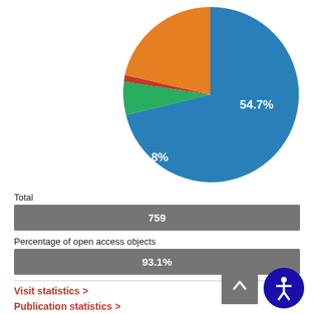[Figure (pie-chart): Open access breakdown]
Total
759
Percentage of open access objects
93.1%
Visit statistics ›
Publication statistics ›